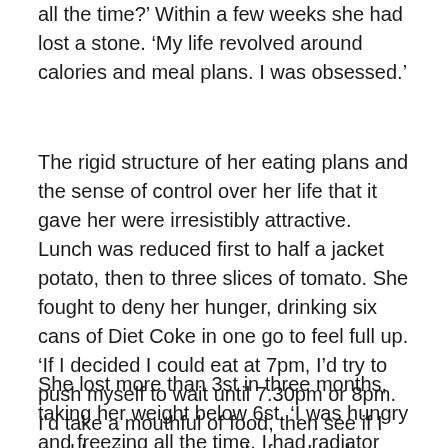all the time?' Within a few weeks she had lost a stone. 'My life revolved around calories and meal plans. I was obsessed.'
The rigid structure of her eating plans and the sense of control over her life that it gave her were irresistibly attractive. Lunch was reduced first to half a jacket potato, then to three slices of tomato. She fought to deny her hunger, drinking six cans of Diet Coke in one go to feel full up. 'If I decided I could eat at 7pm, I'd try to push myself to wait until 7.30pm or 8pm. I'd take a mouthful of food, then see if I could wait two minutes before I took another one.'
She lost more than 3st in three months, taking her weight below 6st. 'I was hungry and freezing all the time. I had radiator burns all over my body from lying against them trying to get warm.' Her family, whom she describes as